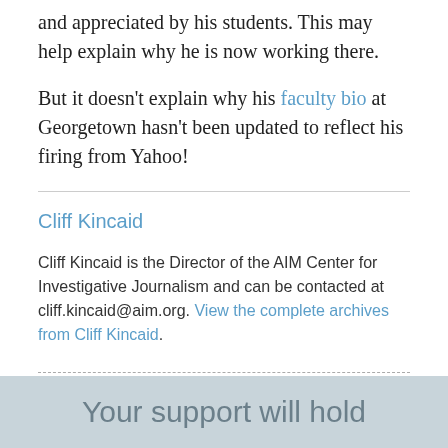and appreciated by his students. This may help explain why he is now working there.
But it doesn't explain why his faculty bio at Georgetown hasn't been updated to reflect his firing from Yahoo!
Cliff Kincaid
Cliff Kincaid is the Director of the AIM Center for Investigative Journalism and can be contacted at cliff.kincaid@aim.org. View the complete archives from Cliff Kincaid.
Your support will hold